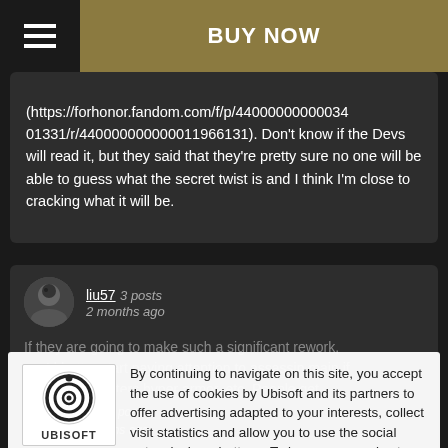BUY NOW
(https://forhonor.fandom.com/f/p/44000000000034 01331/r/440000000000011966131). Don't know if the Devs will read it, but they said that they're pretty sure no one will be able to guess what the secret twist is and I think I'm close to cracking what it will be.
liu57 3 posts
2 months ago
If they are going to make such a significant rework, you'd better start paying attention to assassin main if you put characters hyper armor, etc. People get worked up when its a character getting much
By continuing to navigate on this site, you accept the use of cookies by Ubisoft and its partners to offer advertising adapted to your interests, collect visit statistics and allow you to use the social network share buttons. To learn more and set your cookies.
liu57 3 posts
2 months ago